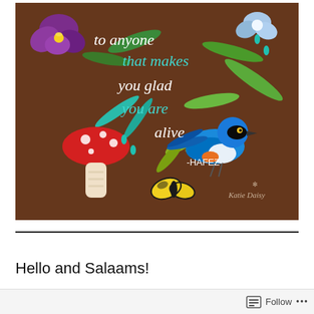[Figure (illustration): A colorful folk-art style illustration on a dark brown background. Features hand-lettered text reading 'to anyone that makes you glad you are alive -HAFEZ-' in white and teal script. Surrounded by illustrated elements: a purple pansy flower (top left), a blue flower (top right), green leaves, a red-and-white spotted mushroom (left), a vivid blue bird perched on a branch (center-right), a yellow-and-black butterfly (bottom center), teal raindrops, and small botanical details. Artist signature 'Katie Daisy' in the lower right corner.]
Hello and Salaams!
Follow ...